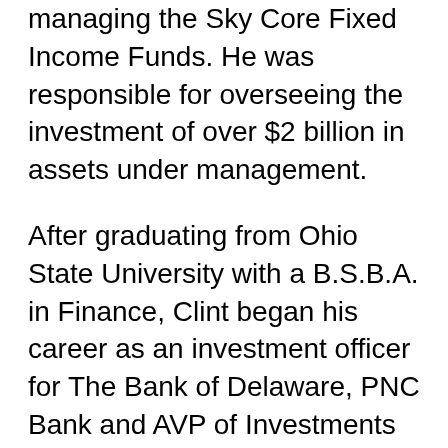managing the Sky Core Fixed Income Funds. He was responsible for overseeing the investment of over $2 billion in assets under management.
After graduating from Ohio State University with a B.S.B.A. in Finance, Clint began his career as an investment officer for The Bank of Delaware, PNC Bank and AVP of Investments for Mellon Private Asset Management. Clint also earned his M.B.A. from the Widener University Graduate School of Business with an emphasis in Economics. After completing his graduate work, Clint became the chief investment officer for The Mahoning National Bank. He was responsible for